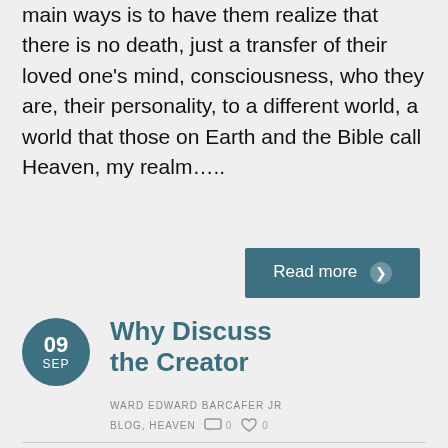main ways is to have them realize that there is no death, just a transfer of their loved one's mind, consciousness, who they are, their personality, to a different world, a world that those on Earth and the Bible call Heaven, my realm…..
Read more ❯
Why Discuss the Creator
WARD EDWARD BARCAFER JR
BLOG, HEAVEN  0  0